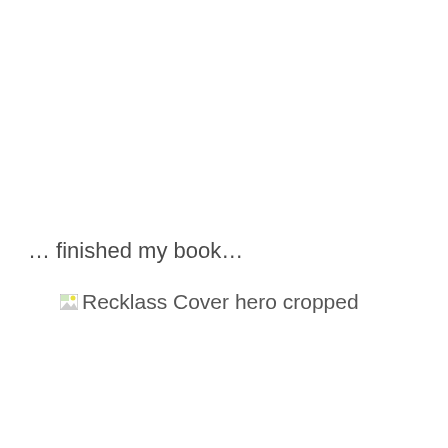… finished my book…
[Figure (illustration): Broken image placeholder with alt text 'Recklass Cover hero cropped']